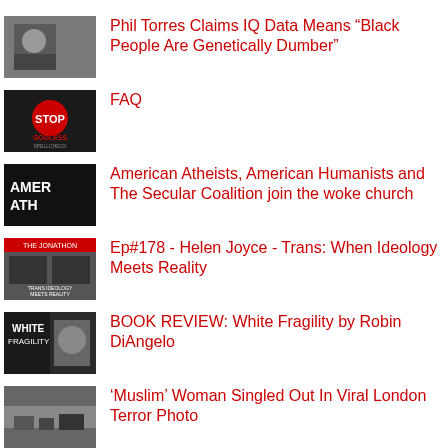Phil Torres Claims IQ Data Means “Black People Are Genetically Dumber”
FAQ
American Atheists, American Humanists and The Secular Coalition join the woke church
Ep#178 - Helen Joyce - Trans: When Ideology Meets Reality
BOOK REVIEW: White Fragility by Robin DiAngelo
‘Muslim’ Woman Singled Out In Viral London Terror Photo
The European Scientific Journal Did Not Conclude 9/11 Was A ‘Controlled